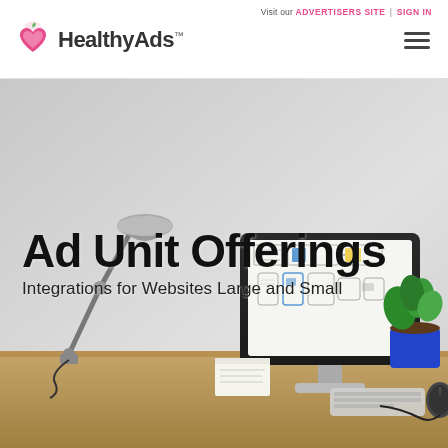Visit our ADVERTISERS SITE | SIGN IN
[Figure (logo): HealthyAds logo with heart icon and TM mark]
[Figure (photo): Hero banner photo of a desk with lamp, iMac computer showing wireframe UI design, keyboard, mouse, and potted plant. Text overlay reads 'Ad Unit Offerings' and 'Integrations for Websites Large and Small']
Ad Unit Offerings
Integrations for Websites Large and Small